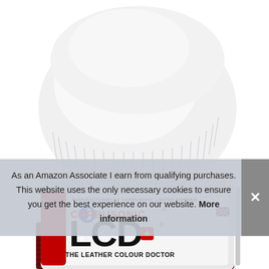[Figure (photo): Product photo of Carbusonic LCD Leather Colour Doctor jar with white ridged lid. Label reads 'MANUFACTURED BY CARBUSONIC LIMITED DURHAM', 'CARBUSONIC', 'LCD', 'THE LEATHER COLOUR DOCTOR'. Side label text reads 'BRIGHT RED REPAIR'. British flag icon visible on label.]
As an Amazon Associate I earn from qualifying purchases. This website uses the only necessary cookies to ensure you get the best experience on our website. More information
[Figure (other): Grey close/dismiss button with X symbol on right side of cookie banner]